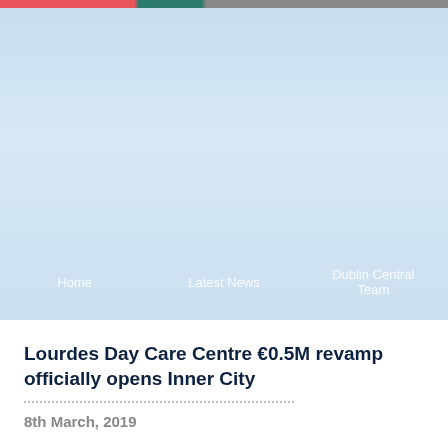[Figure (photo): Hero image showing a light blue sky with a coloured banner strip at the top (red, teal, grey segments). Navigation bar overlaid on lower portion of image.]
Home   Latest News   Dublin Central Team
Lourdes Day Care Centre €0.5M revamp officially opens Inner City
8th March, 2019